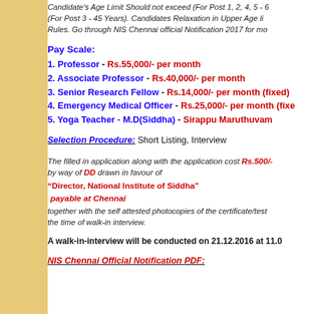Candidate's Age Limit Should not exceed (For Post 1, 2, 4, 5 - 6 (For Post 3 - 45 Years). Candidates Relaxation in Upper Age li Rules. Go through NIS Chennai official Notification 2017 for mo
Pay Scale:
1. Professor - Rs.55,000/- per month
2. Associate Professor - Rs.40,000/- per month
3. Senior Research Fellow - Rs.14,000/- per month (fixed)
4. Emergency Medical Officer - Rs.25,000/- per month (fixed)
5. Yoga Teacher - M.D(Siddha) - Sirappu Maruthuvam
Selection Procedure: Short Listing, Interview
The filled in application along with the application cost Rs.500/- by way of DD drawn in favour of
“Director, National Institute of Siddha”
payable at Chennai
together with the self attested photocopies of the certificate/test the time of walk-in interview.
A walk-in-interview will be conducted on 21.12.2016 at 11.0
NIS Chennai Official Notification PDF: